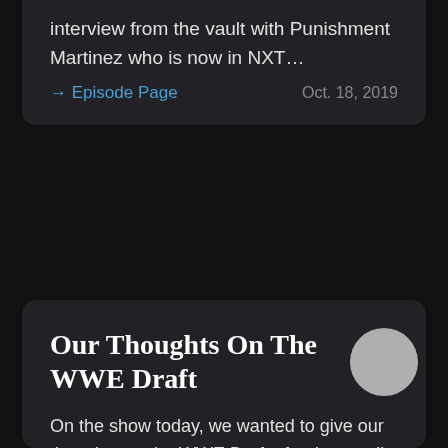interview from the vault with Punishment Martinez who is now in NXT…
→ Episode Page    Oct. 18, 2019
Our Thoughts On The WWE Draft
On the show today, we wanted to give our thoughts on the WWE Draft after it was all said and done, which is why we didn't have a show on Monday! We dive into everything involving the WWE Draft, some bad decisions were made and